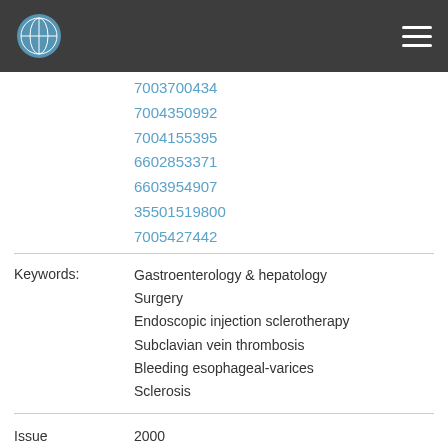7003700434
7004350992
7004155395
6602853371
6603954907
35501519800
7005427442
Keywords: Gastroenterology & hepatology
Surgery
Endoscopic injection sclerotherapy
Subclavian vein thrombosis
Bleeding esophageal-varices
Sclerosis
Issue Date: 2000
Publisher: H G E Update Medical Publishing
Citation: Gürel, S. vd. (2000). "A rare complication of